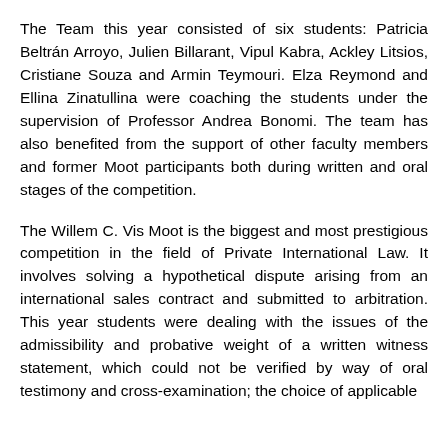The Team this year consisted of six students: Patricia Beltrán Arroyo, Julien Billarant, Vipul Kabra, Ackley Litsios, Cristiane Souza and Armin Teymouri. Elza Reymond and Ellina Zinatullina were coaching the students under the supervision of Professor Andrea Bonomi. The team has also benefited from the support of other faculty members and former Moot participants both during written and oral stages of the competition.
The Willem C. Vis Moot is the biggest and most prestigious competition in the field of Private International Law. It involves solving a hypothetical dispute arising from an international sales contract and submitted to arbitration. This year students were dealing with the issues of the admissibility and probative weight of a written witness statement, which could not be verified by way of oral testimony and cross-examination; the choice of applicable